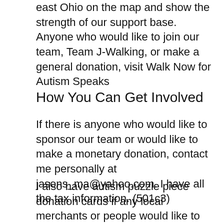east Ohio on the map and show the strength of our support base. Anyone who would like to join our team, Team J-Walking, or make a general donation, visit Walk Now for Autism Speaks
How You Can Get Involved
If there is anyone who would like to sponsor our team or would like to make a monetary donation, contact me personally at jasons_ma@yahoo.com. I have all the tax information. (501c3)
I also have autism puzzle piece donation cards if any local merchants or people would like to help raise money by selling them for a dollar each. I am also going to raise money by asking all local